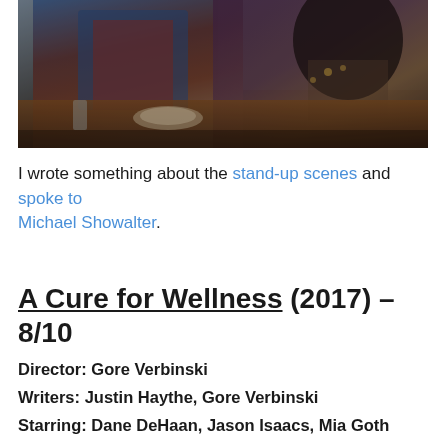[Figure (photo): A scene from a movie or TV show showing two people seated at a dining table. On the left is a man wearing a blue vest over a red plaid shirt. On the right is a woman with long dark hair wearing dark clothing with decorative embroidery. They appear to be in a domestic interior setting.]
I wrote something about the stand-up scenes and spoke to Michael Showalter.
A Cure for Wellness (2017) – 8/10
Director: Gore Verbinski
Writers: Justin Haythe, Gore Verbinski
Starring: Dane DeHaan, Jason Isaacs, Mia Goth